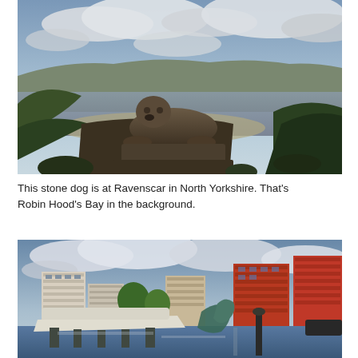[Figure (photo): A stone dog sculpture at Ravenscar in North Yorkshire, with Robin Hood's Bay visible in the background. The stone dog sits on a rocky plinth amid green vegetation, with a wide bay and coastal cliffs visible under a cloudy sky.]
This stone dog is at Ravenscar in North Yorkshire. That's Robin Hood's Bay in the background.
[Figure (photo): A marina or waterfront scene showing modern apartment buildings in red brick and white, with a boat on a trailer or lift in the foreground and a bronze/green sculpture visible at the water's edge. Cloudy sky above.]